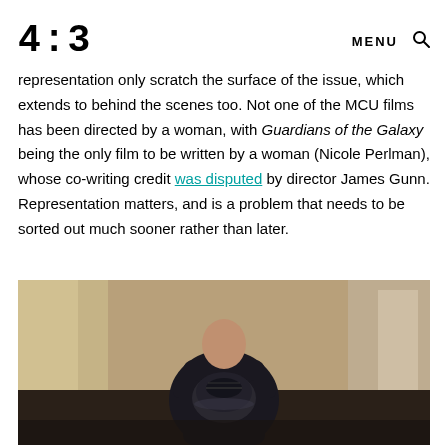4:3 — MENU [search icon]
representation only scratch the surface of the issue, which extends to behind the scenes too. Not one of the MCU films has been directed by a woman, with Guardians of the Galaxy being the only film to be written by a woman (Nicole Perlman), whose co-writing credit was disputed by director James Gunn. Representation matters, and is a problem that needs to be sorted out much sooner rather than later.
[Figure (photo): A man in a dark jacket sitting and holding an Ant-Man helmet in a dimly lit room, from the Marvel film Ant-Man.]